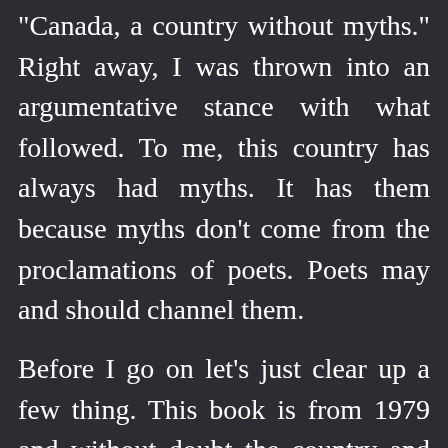"Canada, a country without myths." Right away, I was thrown into an argumentative stance with what followed. To me, this country has always had myths. It has them because myths don't come from the proclamations of poets. Poets may and should channel them.

Before I go on let's just clear up a few thing. This book is from 1979 and without doubt the country and our collective psyche has to have changed, at least a little. Well, enough to come to the idea that...